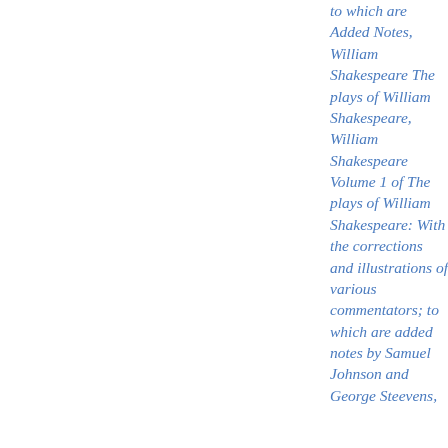to which are Added Notes, William Shakespeare The plays of William Shakespeare, William Shakespeare Volume 1 of The plays of William Shakespeare: With the corrections and illustrations of various commentators; to which are added notes by Samuel Johnson and George Steevens,